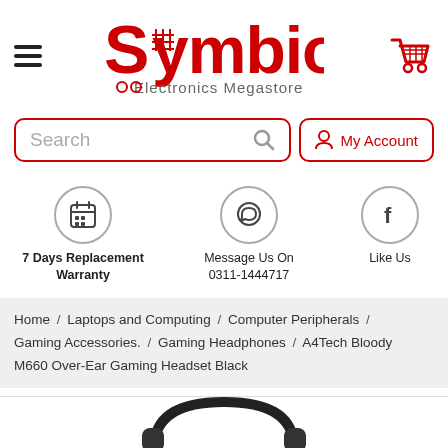[Figure (logo): Symbios Electronics Megastore logo in red with shopping cart graphic]
[Figure (screenshot): Search bar with red border and My Account button with red border]
[Figure (infographic): Three circular icons: 7 Days Replacement Warranty (calendar), Message Us On 0311-1444717 (WhatsApp), Like Us (Facebook)]
Home / Laptops and Computing / Computer Peripherals / Gaming Accessories. / Gaming Headphones / A4Tech Bloody M660 Over-Ear Gaming Headset Black
[Figure (photo): Partial view of A4Tech Bloody M660 Over-Ear Gaming Headset in black]